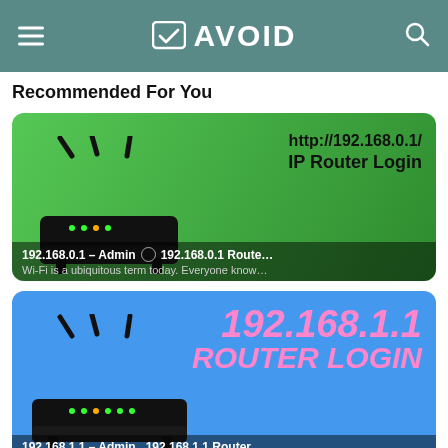AVOID
Recommended For You
[Figure (screenshot): Green card with router image on left, showing 'http://192.168.0.1/ IP Router Login' text on right, and bottom bar with '192.168.0.1 – Admin' and '192.168.0.1 Route...' and description 'Wi-Fi is a ubiquitous term today. Everyone know...']
[Figure (screenshot): Blue card with router image on left, showing '192.168.1.1 ROUTER LOGIN' in pink text on right, and bottom bar with '192.168.1.1 – Admin' and '192.168.1.1 Router...']